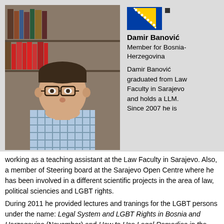[Figure (photo): Portrait photo of Damir Banović, a man with short dark hair and glasses, wearing a checkered shirt, with bookshelves in the background]
[Figure (illustration): Flag of Bosnia-Herzegovina - blue with a yellow triangle and white stars along the diagonal edge]
Damir Banović
Member for Bosnia-Herzegovina
Damir Banović graduated from Law Faculty in Sarajevo and holds a LLM. Since 2007 he is working as a teaching assistant at the Law Faculty in Sarajevo. Also, a member of Steering board at the Sarajevo Open Centre where he has been involved in a different scientific projects in the area of law, political sciencies and LGBT rights.
During 2011 he provided lectures and tranings for the LGBT persons under the name: Legal System and LGBT Rights in Bosnia and Herzegovina (November) and How to Use Legal Remedies in the Protection of LGBT Rights in the Bosnian Legal System (December). Areas of intrestes: multicultural legal theories, politics of identity, theory and practices of LGBT rights.
Selected articles: Transeksualnost- pravo na modifikaciju spola, published in Doktor, Sarajevo (2006) (eng: Transsexualism: Right to Modify Sex); Selected articles in the juridical literature that...